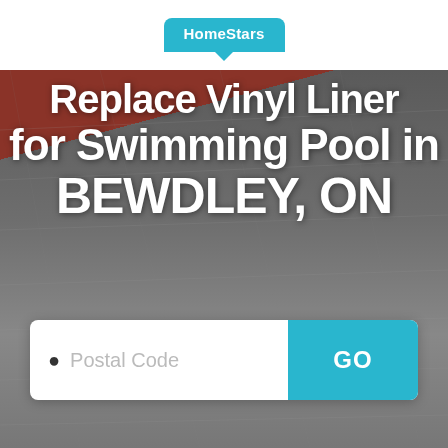[Figure (logo): HomeStars logo badge — cyan rounded rectangle with white bold text 'HomeStars' and a downward speech-bubble pointer]
Replace Vinyl Liner for Swimming Pool in BEWDLEY, ON
[Figure (screenshot): Postal code search bar with location pin icon, placeholder text 'Postal Code', and a cyan GO button on the right]
[Figure (photo): Background photo of roofing shingles in dark grey tones with a partial red/dark roof panel in the upper left corner]